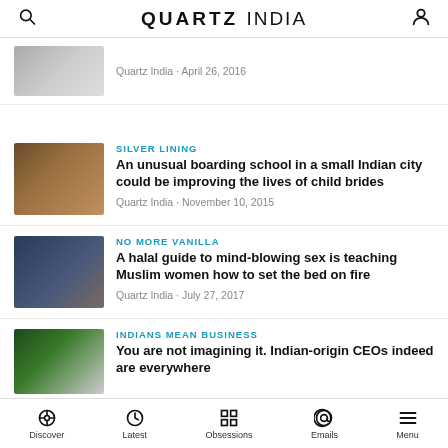QUARTZ INDIA
Quartz India · April 26, 2016
SILVER LINING
An unusual boarding school in a small Indian city could be improving the lives of child brides
Quartz India · November 10, 2015
NO MORE VANILLA
A halal guide to mind-blowing sex is teaching Muslim women how to set the bed on fire
Quartz India · July 27, 2017
INDIANS MEAN BUSINESS
You are not imagining it. Indian-origin CEOs indeed are everywhere
Discover · Latest · Obsessions · Emails · Menu